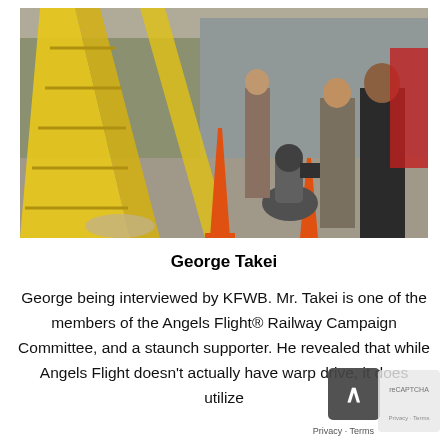[Figure (photo): Outdoor scene showing people on a sidewalk with yellow ladders in the foreground, orange construction cones, a person kneeling with a camera, and others standing. A media/interview setting with multiple cameras visible. Red structure in background right.]
George Takei
George being interviewed by KFWB. Mr. Takei is one of the members of the Angels Flight® Railway Campaign Committee, and a staunch supporter. He revealed that while Angels Flight doesn't actually have warp drive, it does utilize